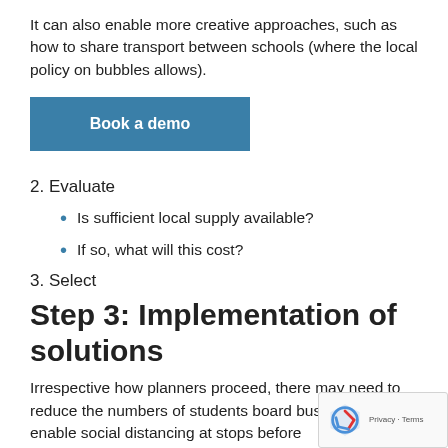It can also enable more creative approaches, such as how to share transport between schools (where the local policy on bubbles allows).
[Figure (other): Blue 'Book a demo' button]
2. Evaluate
Is sufficient local supply available?
If so, what will this cost?
3. Select
Step 3: Implementation of solutions
Irrespective how planners proceed, there may need to reduce the numbers of students board bus stops to enable social distancing at stops before